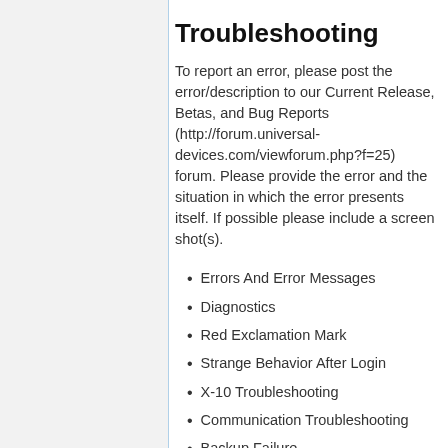Troubleshooting
To report an error, please post the error/description to our Current Release, Betas, and Bug Reports (http://forum.universal-devices.com/viewforum.php?f=25) forum. Please provide the error and the situation in which the error presents itself. If possible please include a screen shot(s).
Errors And Error Messages
Diagnostics
Red Exclamation Mark
Strange Behavior After Login
X-10 Troubleshooting
Communication Troubleshooting
Backup Failure
Known Issues
ISY-99i/ISY-26
INSTEON:Restarting Your ISY-99i